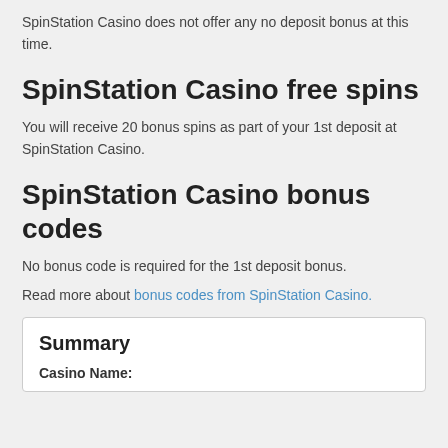SpinStation Casino does not offer any no deposit bonus at this time.
SpinStation Casino free spins
You will receive 20 bonus spins as part of your 1st deposit at SpinStation Casino.
SpinStation Casino bonus codes
No bonus code is required for the 1st deposit bonus.
Read more about bonus codes from SpinStation Casino.
Summary
Casino Name: